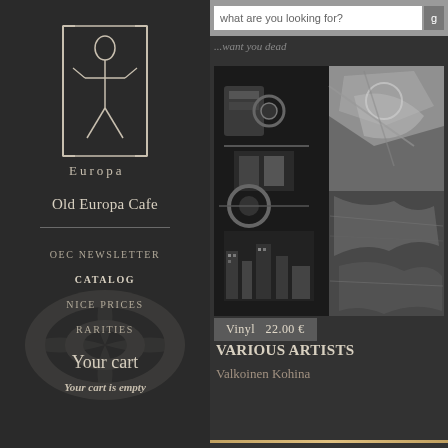[Figure (logo): Old Europa Cafe stylized logo with figure and text 'Europa']
Old Europa Cafe
OEC NEWSLETTER
CATALOG
NICE PRICES
RARITIES
Your cart
Your cart is empty
[Figure (screenshot): Search bar with text 'what are you looking for?' and a grey button]
...want you dead
[Figure (photo): Black and white collage album artwork with industrial and abstract imagery]
Vinyl  22.00 €
VARIOUS ARTISTS
Valkoinen Kohina